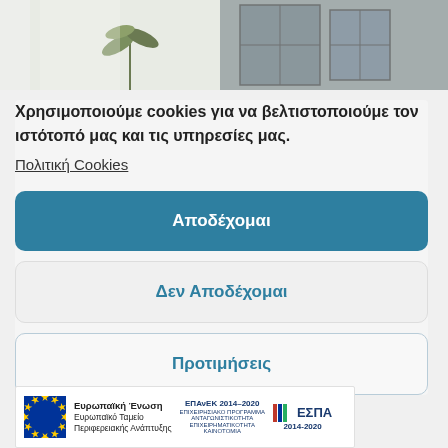[Figure (photo): Two photos side by side: left shows a light interior with a plant, right shows a stone/brick wall building exterior]
Χρησιμοποιούμε cookies για να βελτιστοποιούμε τον ιστότοπό μας και τις υπηρεσίες μας.
Πολιτική Cookies
Αποδέχομαι
Δεν Αποδέχομαι
Προτιμήσεις
[Figure (logo): European Union / ESPA 2014-2020 / EPAnEK funding logos]